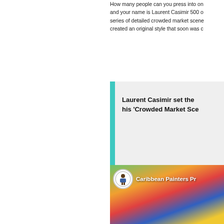How many people can you press into one painting and your name is Laurent Casimir 500 or more. His series of detailed crowded market scenes, Casimir created an original style that soon was c...
Laurent Casimir set the [standard with] his 'Crowded Market Sce[nes]'
Laurent Casimir joined the Centre d'Art in [Haiti and studied] Fine Arts. His work soon attracted the att[ention of collectors. He] had a school of his own, where his appre[ntices learned his] signature.
[Figure (screenshot): Video thumbnail showing colorful crowded market painting with Caribbean Painters Pr[oductions] logo overlay and circular icon]